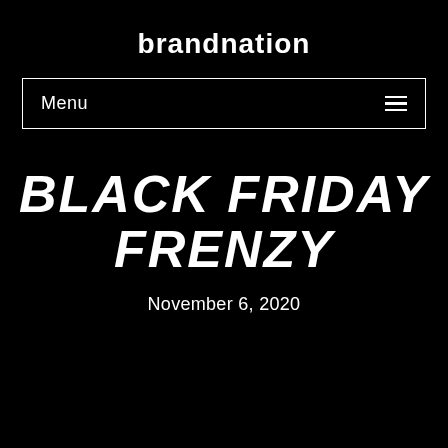brandnation
Menu ≡
BLACK FRIDAY FRENZY
November 6, 2020